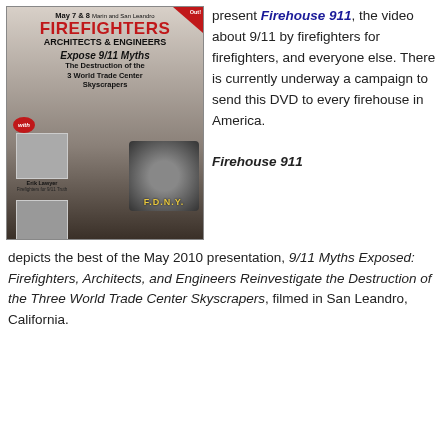[Figure (illustration): Book/DVD cover for 'Firefighters Architects & Engineers Expose 9/11 Myths' event on May 7 & 8 in Marin and San Leandro, featuring photos of Erik Lawyer (Firefighters for 9/11 Truth) and Richard Gage, AIA (Architects & Engineers for 9/11 Truth), with a firefighter helmet and FDNY text in the background.]
present Firehouse 911, the video about 9/11 by firefighters for firefighters, and everyone else. There is currently underway a campaign to send this DVD to every firehouse in America.
Firehouse 911 depicts the best of the May 2010 presentation, 9/11 Myths Exposed: Firefighters, Architects, and Engineers Reinvestigate the Destruction of the Three World Trade Center Skyscrapers, filmed in San Leandro, California.